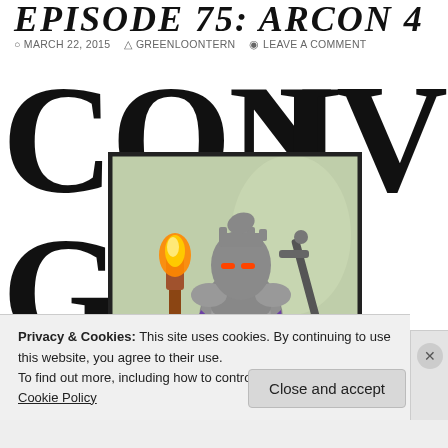EPISODE 75: ARCON 4
MARCH 22, 2015  GREENLOONTERN  LEAVE A COMMENT
[Figure (illustration): Large bold text reading CON IV and G partially visible, with a framed illustration of an armored fantasy knight wearing a crown and purple cape, holding a torch with flames, set against a light green background]
Privacy & Cookies: This site uses cookies. By continuing to use this website, you agree to their use.
To find out more, including how to control cookies, see here:
Cookie Policy
Close and accept